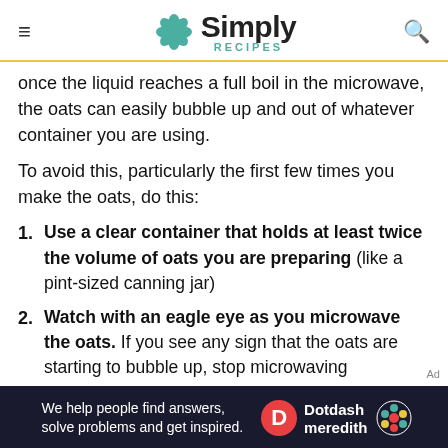Simply Recipes
once the liquid reaches a full boil in the microwave, the oats can easily bubble up and out of whatever container you are using.
To avoid this, particularly the first few times you make the oats, do this:
1. Use a clear container that holds at least twice the volume of oats you are preparing (like a pint-sized canning jar)
2. Watch with an eagle eye as you microwave the oats. If you see any sign that the oats are starting to bubble up, stop microwaving
[Figure (other): Dotdash Meredith advertisement banner: 'We help people find answers, solve problems and get inspired.']